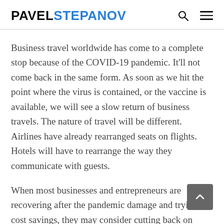PAVELSTEPANOV
Business travel worldwide has come to a complete stop because of the COVID-19 pandemic. It'll not come back in the same form. As soon as we hit the point where the virus is contained, or the vaccine is available, we will see a slow return of business travels. The nature of travel will be different. Airlines have already rearranged seats on flights. Hotels will have to rearrange the way they communicate with guests.
When most businesses and entrepreneurs are recovering after the pandemic damage and trying to cost savings, they may consider cutting back on travel expenses permanently.